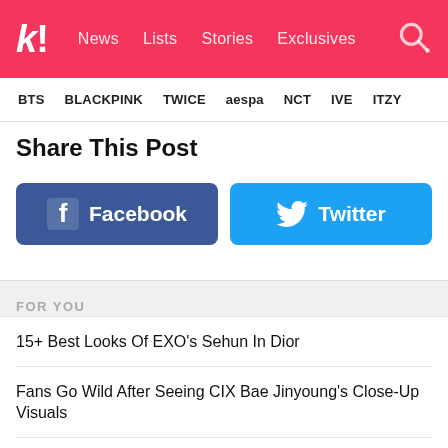k! News Lists Stories Exclusives
BTS BLACKPINK TWICE aespa NCT IVE ITZY
Share This Post
[Figure (other): Facebook share button (blue, rounded rectangle with Facebook logo and text 'Facebook')]
[Figure (other): Twitter share button (light blue, rounded rectangle with Twitter bird logo and text 'Twitter')]
FOR YOU
15+ Best Looks Of EXO's Sehun In Dior
Fans Go Wild After Seeing CIX Bae Jinyoung's Close-Up Visuals
This Thai Actor Became A Fansite For GOT7's Jackson